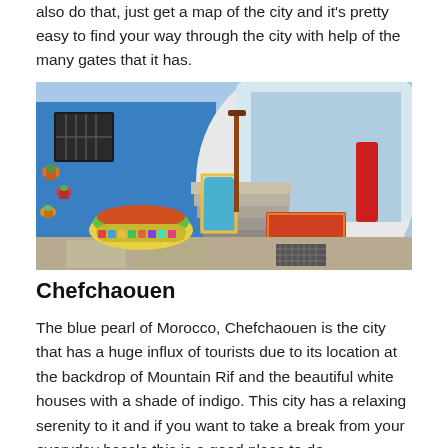also do that, just get a map of the city and it's pretty easy to find your way through the city with help of the many gates that it has.
[Figure (photo): Panoramic street scene of Chefchaouen, Morocco, showing blue-painted buildings, colorful flower pots on walls, mosaic-decorated planters, steps leading upward, a blue doorway with ornate tile surroundings, and a red garment hanging to the right.]
Chefchaouen
The blue pearl of Morocco, Chefchaouen is the city that has a huge influx of tourists due to its location at the backdrop of Mountain Rif and the beautiful white houses with a shade of indigo. This city has a relaxing serenity to it and if you want to take a break from your everyday hassle this is a good place to do.